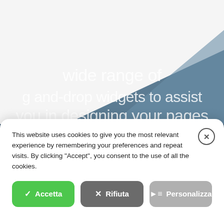[Figure (screenshot): Website background with diagonal blue-teal gradient shape and large white text reading 'wide range of drag-and-drop widgets to assist you in designing your pages', with a dark navy band at the bottom]
This website uses cookies to give you the most relevant experience by remembering your preferences and repeat visits. By clicking "Accept", you consent to the use of all the cookies.
✓ Accetta
✗ Rifiuta
▶≡ Personalizza